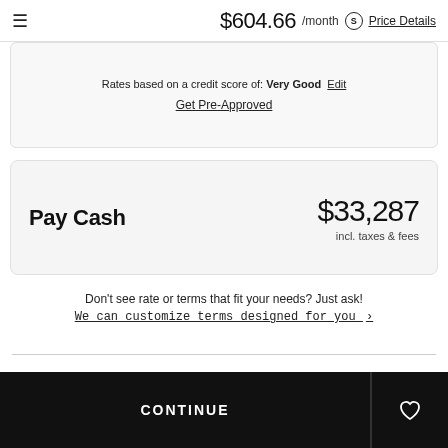$604.66 /month  Price Details
Rates based on a credit score of: Very Good  Edit
Get Pre-Approved
Pay Cash  $33,287  incl. taxes & fees
Don't see rate or terms that fit your needs? Just ask!
We can customize terms designed for you ›
CONTINUE